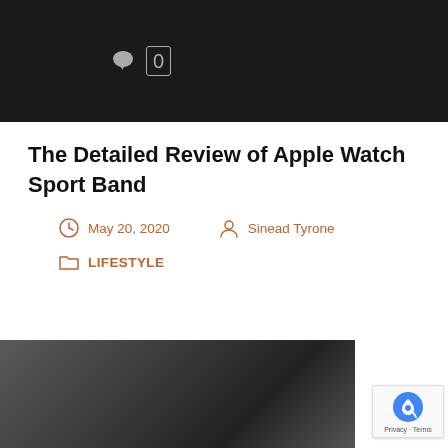[Figure (screenshot): Dark header bar with speech bubble comment icon and comment count '0']
The Detailed Review of Apple Watch Sport Band
May 20, 2020   Sinead Tyrone
LIFESTYLE
[Figure (photo): Close-up photo of Apple Watch Sport Band on a surface, dark tones]